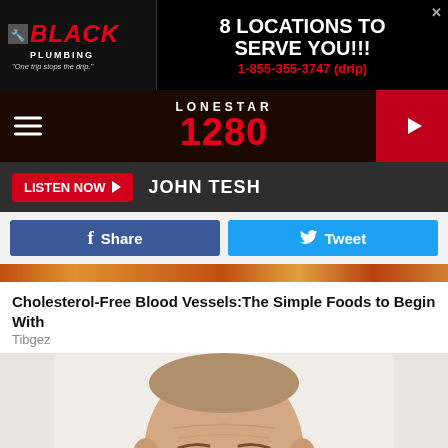[Figure (screenshot): Black Plumbing ad banner with logo, '8 LOCATIONS TO SERVE YOU!!!' and phone number 1-855-355-3747 (drip)]
[Figure (screenshot): Lonestar 1280 radio station navigation bar with hamburger menu, logo, and red play button]
[Figure (screenshot): Listen Now button with JOHN TESH label on dark grey bar]
[Figure (screenshot): Facebook Share and Twitter Tweet social sharing buttons]
[Figure (photo): Decorative colored strip image]
Cholesterol-Free Blood Vessels:The Simple Foods to Begin With
Tibgez
[Figure (photo): Photo of an older bald man smiling, cropped to show face and upper body]